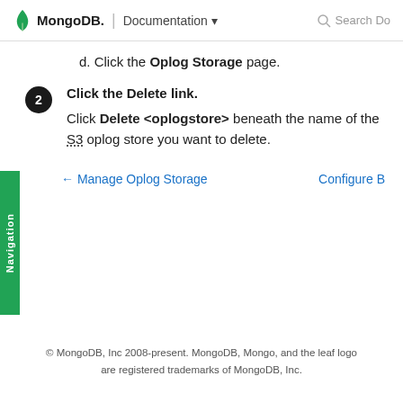MongoDB. | Documentation  Search Do
d. Click the Oplog Storage page.
2 Click the Delete link. Click Delete <oplogstore> beneath the name of the S3 oplog store you want to delete.
← Manage Oplog Storage    Configure B
© MongoDB, Inc 2008-present. MongoDB, Mongo, and the leaf logo are registered trademarks of MongoDB, Inc.